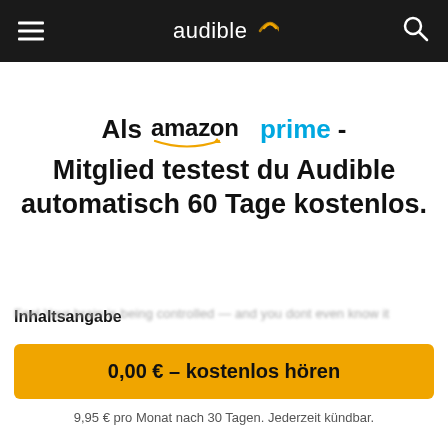[Figure (logo): Audible app header with hamburger menu on left, Audible logo in center, search icon on right, dark background]
Als amazon prime - Mitglied testest du Audible automatisch 60 Tage kostenlos.
Inhaltsangabe
Feel Your brain is being controlled — and you dont even know it
0,00 € – kostenlos hören
9,95 € pro Monat nach 30 Tagen. Jederzeit kündbar.